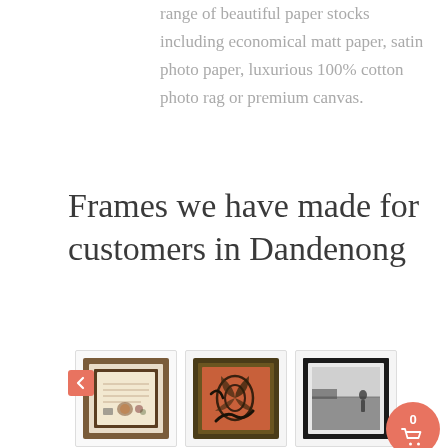range of beautiful paper stocks including economical matt paper, satin photo paper, luxurious 100% cotton photo rag or premium canvas.
Frames we have made for customers in Dandenong
[Figure (photo): Three framed artworks shown in a horizontal carousel row: first is a certificate/document in a brown double-mat frame, second is an Aboriginal-style painting in a dark gold frame, third is a black-and-white landscape photo in a black frame. A red left-arrow carousel navigation button is visible on the left. A red shopping cart icon with a badge showing '0' is visible bottom-right.]